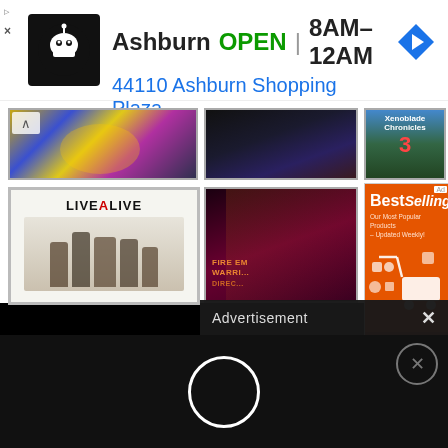[Figure (screenshot): Advertisement banner: Chef robot logo, 'Ashburn OPEN | 8AM-12AM', '44110 Ashburn Shopping Plaza, ..' with navigation arrow icon and small ad controls (triangle, X)]
[Figure (screenshot): Grid of video game cover thumbnails: Splatoon (colorful ink art), dark RPG cover, Xenoblade Chronicles 3 cover (top row); Live A Live cover (white/beige with characters), Fire Emblem Warriors Direct cover (bottom row)]
Advertisement
[Figure (screenshot): AliExpress advertisement: 'BestSelling - Our Most Popular Products - Updated Weekly!' with shopping cart icon, orange background, Shop Now button]
[Figure (screenshot): Black area with white circle loading indicator and close (X) button]